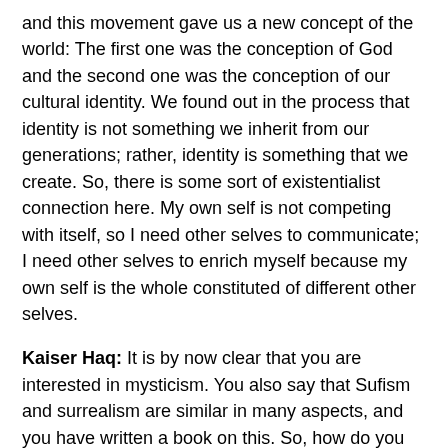and this movement gave us a new concept of the world: The first one was the conception of God and the second one was the conception of our cultural identity. We found out in the process that identity is not something we inherit from our generations; rather, identity is something that we create. So, there is some sort of existentialist connection here. My own self is not competing with itself, so I need other selves to communicate; I need other selves to enrich myself because my own self is the whole constituted of different other selves.
Kaiser Haq: It is by now clear that you are interested in mysticism. You also say that Sufism and surrealism are similar in many aspects, and you have written a book on this. So, how do you think Sufism and surrealism are similar?
Adonis: There is a debate about the relationship between poetry, national tradition and internationalism or globalisation. We have said that we want to be open to all other cultures and all other traditions. And what we also found